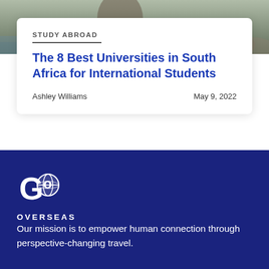[Figure (photo): Partial photo of a person near a rocky seaside, cropped at top of page]
STUDY ABROAD
The 8 Best Universities in South Africa for International Students
Ashley Williams	May 9, 2022
[Figure (logo): Go Overseas logo — stylized GO letters with a globe, and OVERSEAS text below]
Our mission is to empower human connection through perspective-changing travel.